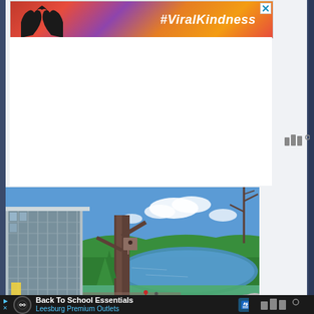[Figure (screenshot): Advertisement banner with #ViralKindness text over a sunset background with silhouetted hands forming a heart shape]
[Figure (photo): Outdoor photo showing a modern glass building on the left and a pond/lake surrounded by trees and blue sky with clouds]
[Figure (screenshot): Advertisement banner for Back To School Essentials at Leesburg Premium Outlets on dark background with logo and navigation arrow]